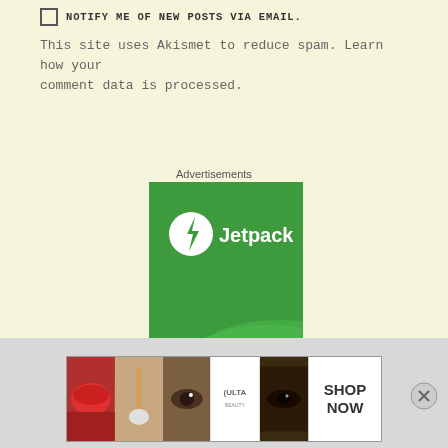NOTIFY ME OF NEW POSTS VIA EMAIL.
This site uses Akismet to reduce spam. Learn how your comment data is processed.
Advertisements
[Figure (logo): Jetpack advertisement banner — green background with white Jetpack logo and wordmark]
Advertisements
[Figure (photo): Ulta Beauty advertisement banner showing makeup imagery and SHOP NOW call to action]